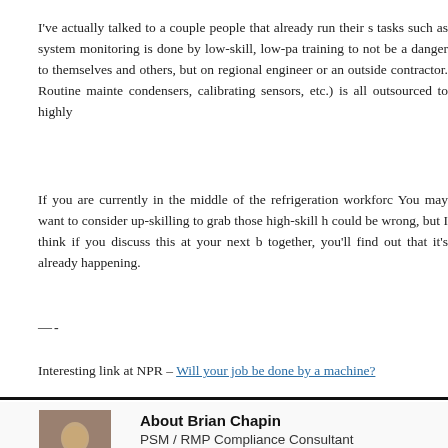I've actually talked to a couple people that already run their s tasks such as system monitoring is done by low-skill, low-pa training to not be a danger to themselves and others, but on regional engineer or an outside contractor. Routine mainte condensers, calibrating sensors, etc.) is all outsourced to highly
If you are currently in the middle of the refrigeration workforc You may want to consider up-skilling to grab those high-skill h could be wrong, but I think if you discuss this at your next b together, you'll find out that it's already happening.
—-
Interesting link at NPR – Will your job be done by a machine?
About Brian Chapin
PSM / RMP Compliance Consultant